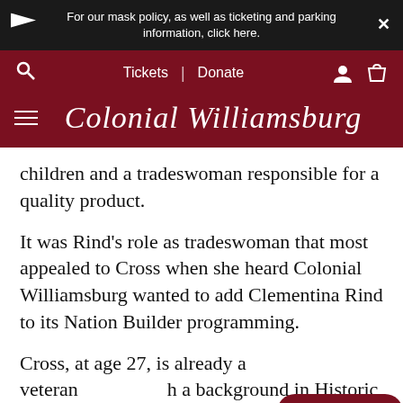For our mask policy, as well as ticketing and parking information, click here.
Tickets | Donate
Colonial Williamsburg
children and a tradeswoman responsible for a quality product.
It was Rind's role as tradeswoman that most appealed to Cross when she heard Colonial Williamsburg wanted to add Clementina Rind to its Nation Builder programming.
Cross, at age 27, is already a veteran with a background in Historic Trades. She has either